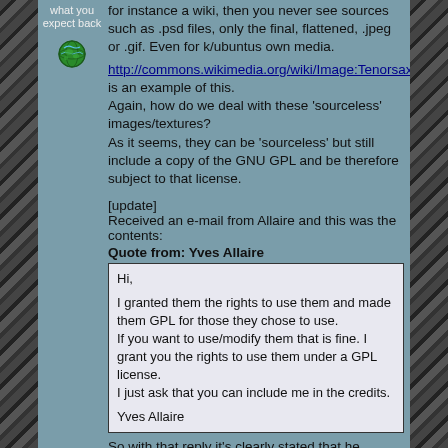what you expect back
for instance a wiki, then you never see sources such as .psd files, only the final, flattened, .jpeg or .gif. Even for k/ubuntus own media.
[Figure (illustration): Globe/world icon]
http://commons.wikimedia.org/wiki/Image:Tenorsaxo is an example of this.
Again, how do we deal with these 'sourceless' images/textures?
As it seems, they can be 'sourceless' but still include a copy of the GNU GPL and be therefore subject to that license.
[update]
Received an e-mail from Allaire and this was the contents:
Quote from: Yves Allaire
Hi,

I granted them the rights to use them and made them GPL for those they chose to use.
If you want to use/modify them that is fine. I grant you the rights to use them under a GPL license.
I just ask that you can include me in the credits.

Yves Allaire
So with that reply it's clearly stated that he allowed Nexuiz to use his textures in their project and they are subject to GPL.
However, it fails to say that they originally was subject to GNU GPL since there was no license.